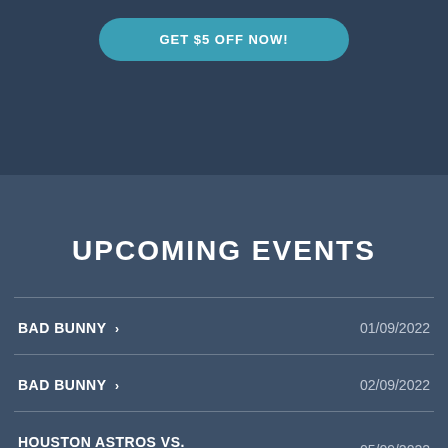[Figure (other): Teal/blue rounded button with text 'GET $5 OFF NOW!' on a dark blue banner background]
UPCOMING EVENTS
BAD BUNNY > | 01/09/2022
BAD BUNNY > | 02/09/2022
HOUSTON ASTROS VS. TEXAS RANGERS > | 05/09/2022